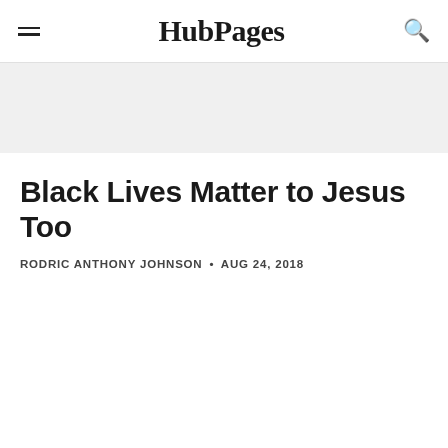HubPages
Black Lives Matter to Jesus Too
RODRIC ANTHONY JOHNSON • AUG 24, 2018